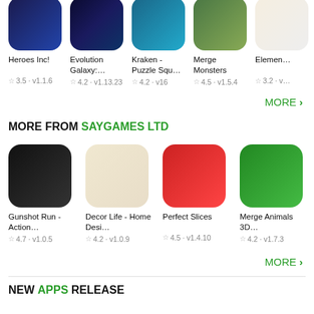Heroes Inc! ☆ 3.5 · v1.1.6
Evolution Galaxy:… ☆ 4.2 · v1.13.23
Kraken - Puzzle Squ… ☆ 4.2 · v16
Merge Monsters ☆ 4.5 · v1.5.4
Elemen… ☆ 3.2 · v…
MORE ›
MORE FROM SAYGAMES LTD
Gunshot Run - Action… ☆ 4.7 · v1.0.5
Decor Life - Home Desi… ☆ 4.2 · v1.0.9
Perfect Slices ☆ 4.5 · v1.4.10
Merge Animals 3D… ☆ 4.2 · v1.7.3
MORE ›
NEW APPS RELEASE